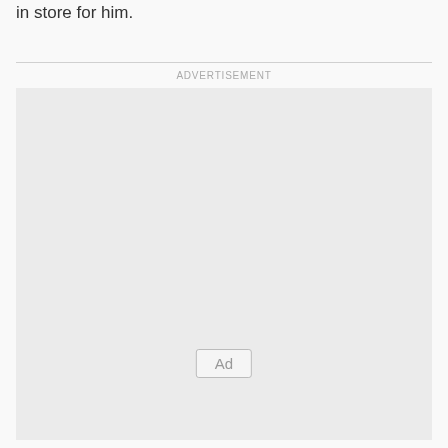in store for him.
[Figure (other): Advertisement placeholder box with 'Ad' button label in center]
ADVERTISEMENT